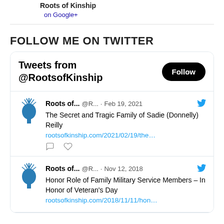Roots of Kinship on Google+
FOLLOW ME ON TWITTER
[Figure (screenshot): Twitter widget showing tweets from @RootsofKinship with a Follow button. Tweet 1: Roots of... @R... · Feb 19, 2021 - The Secret and Tragic Family of Sadie (Donnelly) Reilly rootsofkinship.com/2021/02/19/the... Tweet 2: Roots of... @R... · Nov 12, 2018 - Honor Role of Family Military Service Members – In Honor of Veteran's Day rootsofkinship.com/2018/11/11/hon...]